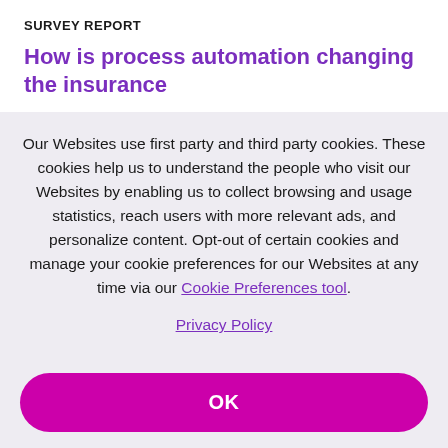SURVEY REPORT
How is process automation changing the insurance
Our Websites use first party and third party cookies. These cookies help us to understand the people who visit our Websites by enabling us to collect browsing and usage statistics, reach users with more relevant ads, and personalize content. Opt-out of certain cookies and manage your cookie preferences for our Websites at any time via our Cookie Preferences tool.
Privacy Policy
OK